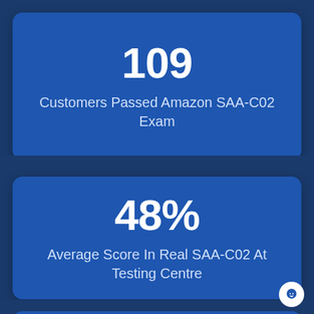109
Customers Passed Amazon SAA-C02 Exam
48%
Average Score In Real SAA-C02 At Testing Centre